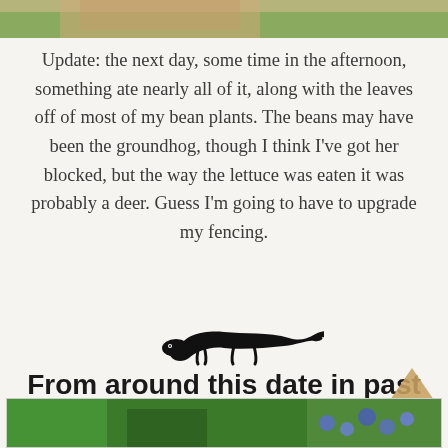[Figure (photo): Top portion of a photo showing greenery and skin tones, partially cropped at the top of the page]
Update: the next day, some time in the afternoon, something ate nearly all of it, along with the leaves off of most of my bean plants. The beans may have been the groundhog, though I think I've got her blocked, but the way the lettuce was eaten it was probably a deer. Guess I'm going to have to upgrade my fencing.
[Figure (illustration): Black silhouette illustration of a low-slung animal (lizard or salamander) facing right]
From around this date in past years
Mimi Through the Rhododendron, 2020
[Figure (photo): Bottom portion of a photo showing green leaves and blue berries or flowers, partially cropped at the bottom of the page]